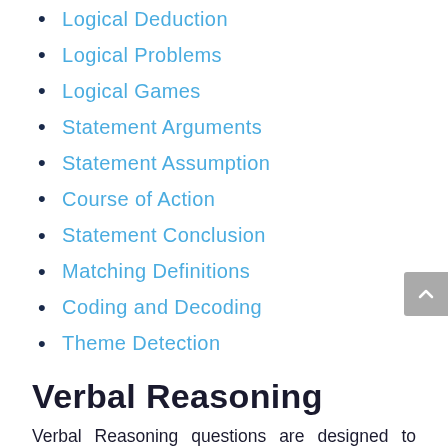Logical Deduction
Logical Problems
Logical Games
Statement Arguments
Statement Assumption
Course of Action
Statement Conclusion
Matching Definitions
Coding and Decoding
Theme Detection
Verbal Reasoning
Verbal Reasoning questions are designed to identify the ability of the candidate to understand and respond to questions about information provided in a question passage and to determine whether specific